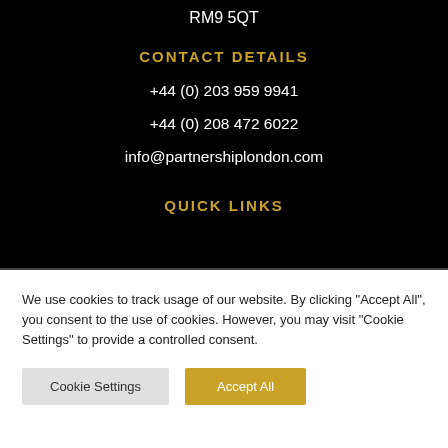RM9 5QT
CONTACT DETAILS
+44 (0) 203 959 9941
+44 (0) 208 472 6022
info@partnershiplondon.com
QUICK LINKS
We use cookies to track usage of our website. By clicking "Accept All", you consent to the use of cookies. However, you may visit "Cookie Settings" to provide a controlled consent.
Cookie Settings
Accept All